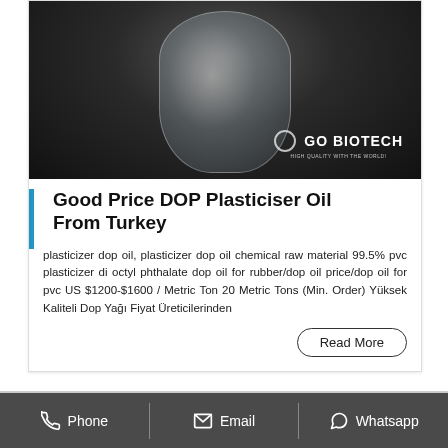[Figure (photo): Product photo of DOP plasticiser oil in a glass/clear container on a dark background with GO BIOTECH watermark logo]
Good Price DOP Plasticiser Oil From Turkey
plasticizer dop oil, plasticizer dop oil chemical raw material 99.5% pvc plasticizer di octyl phthalate dop oil for rubber/dop oil price/dop oil for pvc US $1200-$1600 / Metric Ton 20 Metric Tons (Min. Order) Yüksek Kaliteli Dop Yağı Fiyat Üreticilerinden
Read More
Phone   Email   Whatsapp